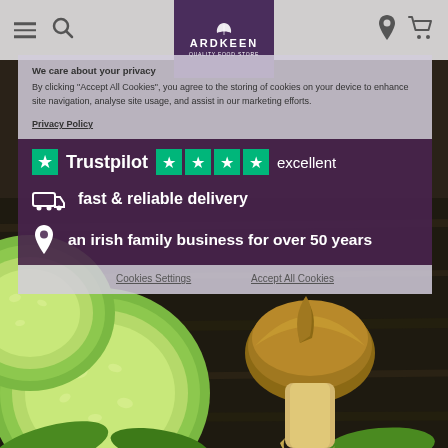[Figure (screenshot): Website screenshot of Ardkeen Quality Food Store with navigation header, Trustpilot rating, delivery and Irish business info overlay, and vegetable background photo showing cucumbers and a mushroom]
ARDKEEN QUALITY FOOD STORE
We care about your privacy
By clicking "Accept All Cookies", you agree to the storing of cookies on your device to enhance site navigation, analyse site usage, and assist in our marketing efforts.
Privacy Policy
Trustpilot  ★★★★★  excellent
fast & reliable delivery
an irish family business for over 50 years
Cookies Settings
Accept All Cookies